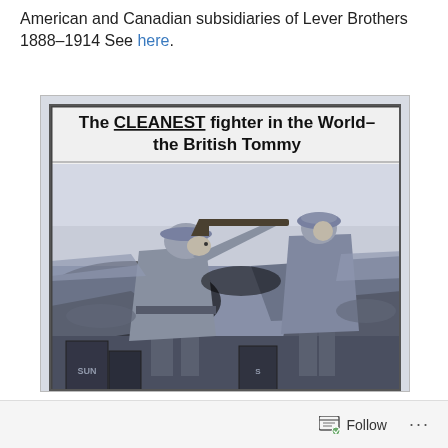American and Canadian subsidiaries of Lever Brothers 1888–1914 See here.
[Figure (illustration): WWI-era advertising poster showing two British soldiers in a trench. One soldier is aiming a rifle while another stands behind him. Text on poster reads: 'The CLEANEST fighter in the World– the British Tommy'. Soap boxes labeled 'SUN' visible at the bottom. Black and white illustration.]
Follow ...